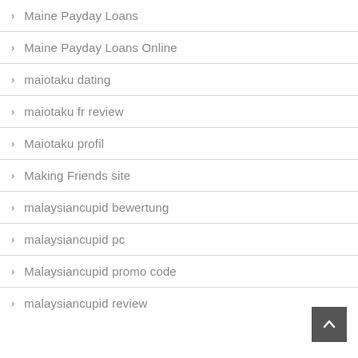Maine Payday Loans
Maine Payday Loans Online
maiotaku dating
maiotaku fr review
Maiotaku profil
Making Friends site
malaysiancupid bewertung
malaysiancupid pc
Malaysiancupid promo code
malaysiancupid review